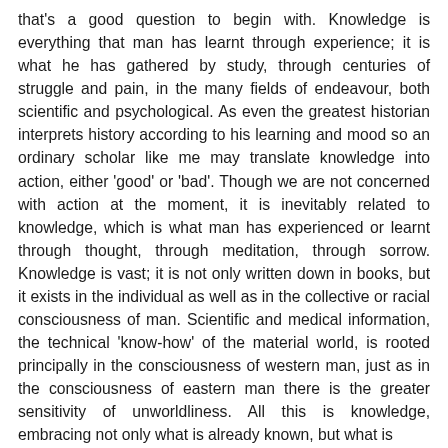that's a good question to begin with. Knowledge is everything that man has learnt through experience; it is what he has gathered by study, through centuries of struggle and pain, in the many fields of endeavour, both scientific and psychological. As even the greatest historian interprets history according to his learning and mood so an ordinary scholar like me may translate knowledge into action, either 'good' or 'bad'. Though we are not concerned with action at the moment, it is inevitably related to knowledge, which is what man has experienced or learnt through thought, through meditation, through sorrow. Knowledge is vast; it is not only written down in books, but it exists in the individual as well as in the collective or racial consciousness of man. Scientific and medical information, the technical 'know-how' of the material world, is rooted principally in the consciousness of western man, just as in the consciousness of eastern man there is the greater sensitivity of unworldliness. All this is knowledge, embracing not only what is already known, but what is being discovered from day to day. If a scholar has...